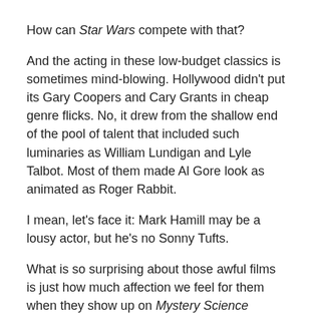How can Star Wars compete with that?
And the acting in these low-budget classics is sometimes mind-blowing. Hollywood didn't put its Gary Coopers and Cary Grants in cheap genre flicks. No, it drew from the shallow end of the pool of talent that included such luminaries as William Lundigan and Lyle Talbot. Most of them made Al Gore look as animated as Roger Rabbit.
I mean, let's face it: Mark Hamill may be a lousy actor, but he's no Sonny Tufts.
What is so surprising about those awful films is just how much affection we feel for them when they show up on Mystery Science Theater 3000 or during a baseball rain delay.